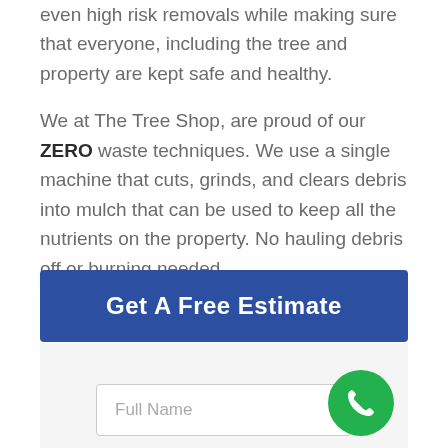even high risk removals while making sure that everyone, including the tree and property are kept safe and healthy.
We at The Tree Shop, are proud of our ZERO waste techniques. We use a single machine that cuts, grinds, and clears debris into mulch that can be used to keep all the nutrients on the property. No hauling debris off or burning needed.
Get A Free Estimate
[Figure (screenshot): A form input field with placeholder text 'Full Name']